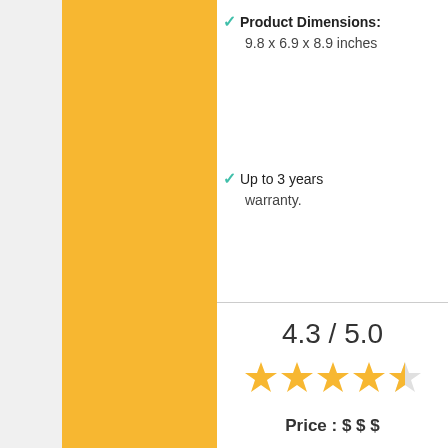Product Dimensions: 9.8 x 6.9 x 8.9 inches
Up to 3 years warranty.
Our Rating
4.3 / 5.0
[Figure (other): 4.3 out of 5 stars rating shown with 4 full stars and 1 half star in gold]
Price : $ $ $
More Details
[Figure (other): Petco advertisement banner with logo, In-store shopping and Curbside pickup checkmarks, and a blue diamond arrow icon]